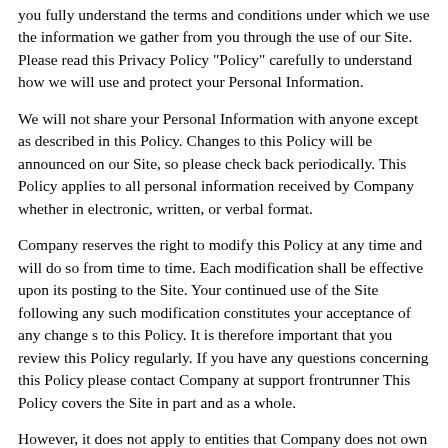you fully understand the terms and conditions under which we use the information we gather from you through the use of our Site. Please read this Privacy Policy "Policy" carefully to understand how we will use and protect your Personal Information.
We will not share your Personal Information with anyone except as described in this Policy. Changes to this Policy will be announced on our Site, so please check back periodically. This Policy applies to all personal information received by Company whether in electronic, written, or verbal format.
Company reserves the right to modify this Policy at any time and will do so from time to time. Each modification shall be effective upon its posting to the Site. Your continued use of the Site following any such modification constitutes your acceptance of any change s to this Policy. It is therefore important that you review this Policy regularly. If you have any questions concerning this Policy please contact Company at support frontrunner This Policy covers the Site in part and as a whole.
However, it does not apply to entities that Company does not own or control, including without limitation, Campaign, advertisers or developers of content. Company may include third-party links on the Site. These third-party sites are governed by their own privacy policies and NOT this Policy.